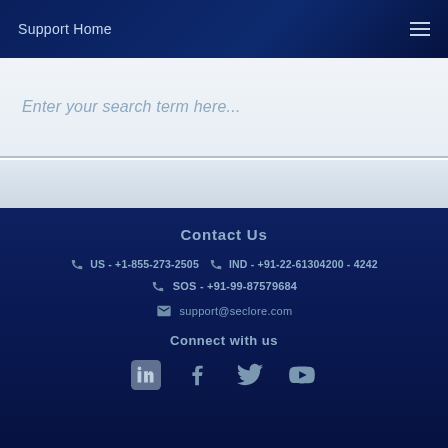Support Home
Enter your search term here...
Contact Us
US - +1-855-273-2505   IND - +91-22-61304200 - 4242
SOS - +91-99-87579684
support@seclore.com
Connect with us
[Figure (infographic): Social media icons: LinkedIn, Facebook, Twitter, YouTube]